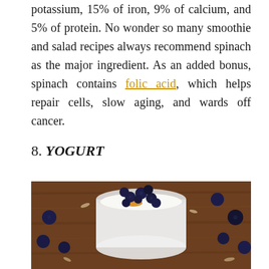potassium, 15% of iron, 9% of calcium, and 5% of protein. No wonder so many smoothie and salad recipes always recommend spinach as the major ingredient. As an added bonus, spinach contains folic acid, which helps repair cells, slow aging, and wards off cancer.
8. YOGURT
[Figure (photo): A glass jar filled with white yogurt topped with fresh blueberries and a drizzle of honey/golden syrup, surrounded by scattered blueberries and oat flakes on a rustic wooden surface.]